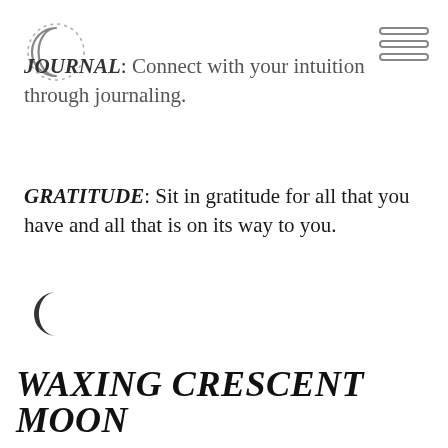[Figure (logo): Crescent moon with dotted circle logo in top left corner]
[Figure (other): Three horizontal lines hamburger menu icon in top right corner]
JOURNAL: Connect with your intuition through journaling.
GRATITUDE: Sit in gratitude for all that you have and all that is on its way to you.
[Figure (illustration): Small crescent moon symbol]
WAXING CRESCENT MOON